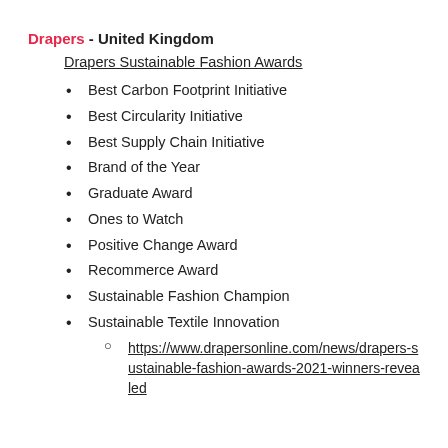Drapers - United Kingdom
Drapers Sustainable Fashion Awards
Best Carbon Footprint Initiative
Best Circularity Initiative
Best Supply Chain Initiative
Brand of the Year
Graduate Award
Ones to Watch
Positive Change Award
Recommerce Award
Sustainable Fashion Champion
Sustainable Textile Innovation
https://www.drapersonline.com/news/drapers-sustainable-fashion-awards-2021-winners-revealed